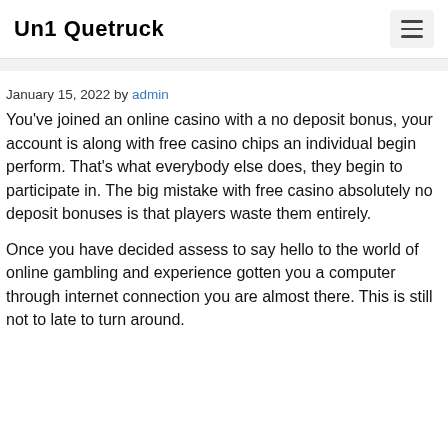Un1 Quetruck
January 15, 2022 by admin
You’ve joined an online casino with a no deposit bonus, your account is along with free casino chips an individual begin perform. That’s what everybody else does, they begin to participate in. The big mistake with free casino absolutely no deposit bonuses is that players waste them entirely.
Once you have decided assess to say hello to the world of online gambling and experience gotten you a computer through internet connection you are almost there. This is still not to late to turn around.